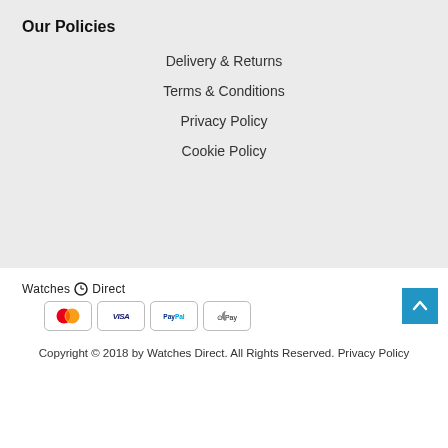Our Policies
Delivery & Returns
Terms & Conditions
Privacy Policy
Cookie Policy
[Figure (logo): Watches Direct logo with payment method icons: Mastercard, VISA, PayPal, Apple Pay]
Copyright © 2018 by Watches Direct. All Rights Reserved. Privacy Policy